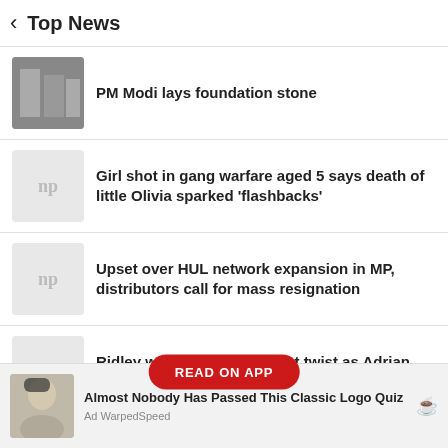Top News
PM Modi lays foundation stone
Girl shot in gang warfare aged 5 says death of little Olivia sparked 'flashbacks'
Upset over HUL network expansion in MP, distributors call for mass resignation
Ridley w…ous' plot twist as Adrian Dunbar drama makes debut
[Figure (screenshot): READ ON APP overlay button]
Almost Nobody Has Passed This Classic Logo Quiz
Ad WarpedSpeed